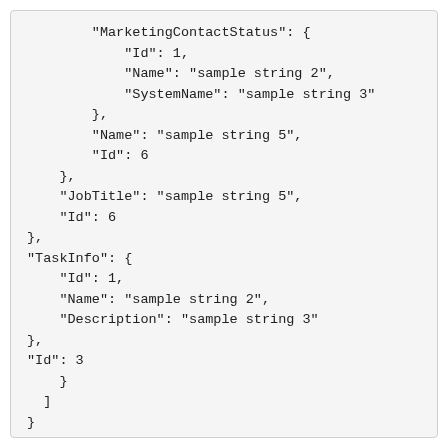"MarketingContactStatus": {
  "Id": 1,
  "Name": "sample string 2",
  "SystemName": "sample string 3"
},
"Name": "sample string 5",
"Id": 6
},
"JobTitle": "sample string 5",
"Id": 6
},
"TaskInfo": {
  "Id": 1,
  "Name": "sample string 2",
  "Description": "sample string 3"
},
"Id": 3
}
]
}